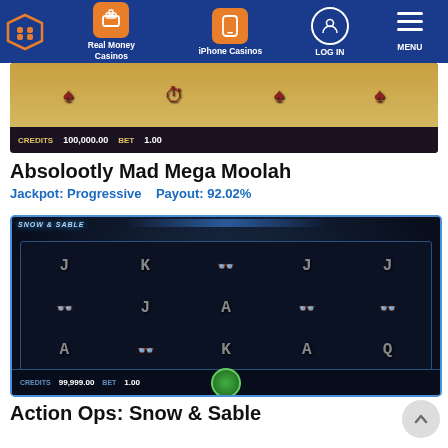Navigation bar with: Real Money Casinos, iPhone Casinos, LOG IN, MENU
[Figure (screenshot): Screenshot of Absolootly Mad Mega Moolah slot game showing reels with playing card symbols, cake, pocket watch. Credits: 100,000.00, BET: 1.00]
Absolootly Mad Mega Moolah
Jackpot: Progressive    Payout: 92.02%
[Figure (screenshot): Screenshot of Action Ops: Snow & Sable slot game showing dark themed reels with J, K, A, Q symbols and red sunglasses symbols. 10 LINES, Credits: 99,999.00, BET: 1.00]
Action Ops: Snow & Sable